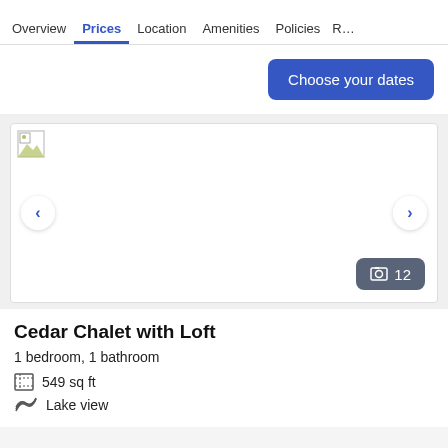Overview | Prices | Location | Amenities | Policies | R…
Choose your dates
[Figure (photo): Image carousel showing a rental property photo (image not loaded, broken image icon visible). Left and right navigation arrows on sides. Photo count badge showing 12 photos.]
Cedar Chalet with Loft
1 bedroom, 1 bathroom
549 sq ft
Lake view